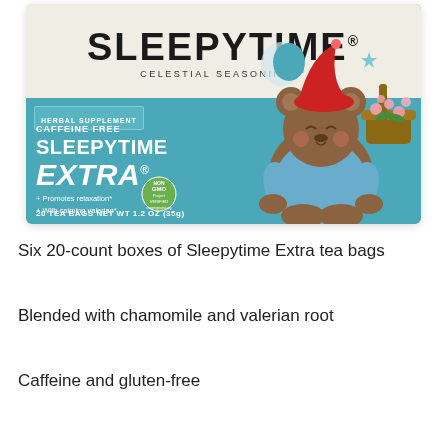[Figure (photo): Product box of Celestial Seasonings Sleepytime Extra herbal supplement tea, caffeine free, 20 tea bags, net wt 1.2oz (35g), with Non-GMO Verified badge, Wellness Tea banner, and illustration of a sleeping bear in blue pajamas with chamomile flowers]
Six 20-count boxes of Sleepytime Extra tea bags
Blended with chamomile and valerian root
Caffeine and gluten-free